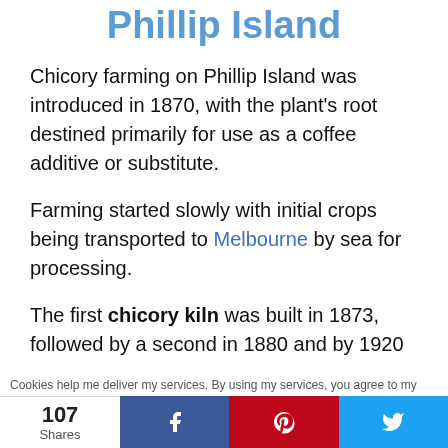Phillip Island
Chicory farming on Phillip Island was introduced in 1870, with the plant's root destined primarily for use as a coffee additive or substitute.
Farming started slowly with initial crops being transported to Melbourne by sea for processing.
The first chicory kiln was built in 1873, followed by a second in 1880 and by 1920
Cookies help me deliver my services. By using my services, you agree to my
107 Shares  f  ®  🐦